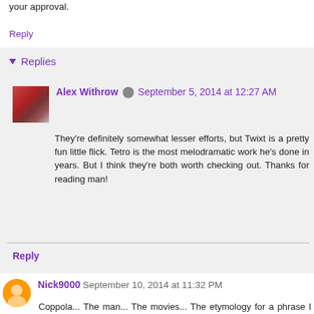your approval.
Reply
Replies
Alex Withrow  September 5, 2014 at 12:27 AM
They're definitely somewhat lesser efforts, but Twixt is a pretty fun little flick. Tetro is the most melodramatic work he's done in years. But I think they're both worth checking out. Thanks for reading man!
Reply
Nick9000  September 10, 2014 at 11:32 PM
Coppola... The man... The movies... The etymology for a phrase I made up called "The Coppola Curse" (you know, when a great director inevitably declines in quality). But I'm